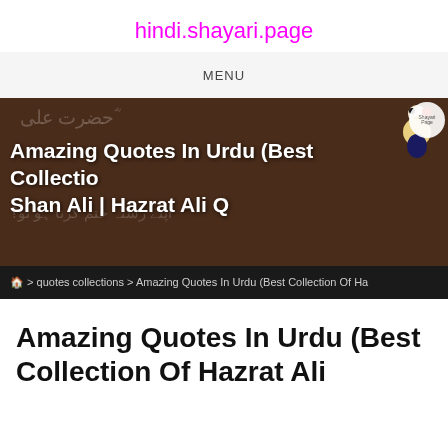hindi.shayari.page
MENU
[Figure (screenshot): Hero banner with dark brown background showing Urdu calligraphy text, a goldfinch bird in the top right corner, and white bold English text reading 'Amazing Quotes In Urdu (Best Collection Shan Ali | Hazrat Ali Q']
🏠 > quotes collections > Amazing Quotes In Urdu (Best Collection Of Ha
Amazing Quotes In Urdu (Best Collection Of Hazrat Ali